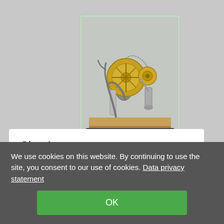[Figure (photo): A Stirling engine model displayed inside a glass case, with gold and silver mechanical parts on a wooden base, against a light grey background.]
Glas-1
The elegant glass display Glas-1
BUY NOW
We use cookies on this website. By continuing to use the site, you consent to our use of cookies. Data privacy statement
OK